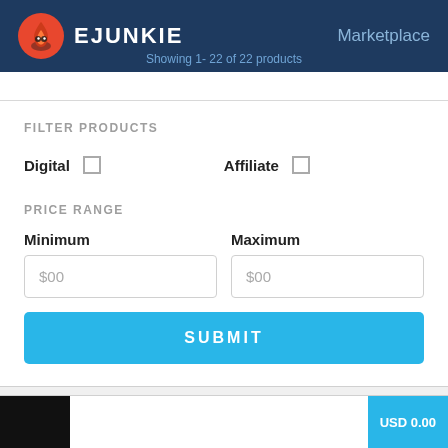EJUNKIE  Marketplace
Showing 1- 22 of 22 products
FILTER PRODUCTS
Digital  [checkbox]
Affiliate  [checkbox]
PRICE RANGE
Minimum
$00
Maximum
$00
SUBMIT
#Elements And Supplements
USD 0.00